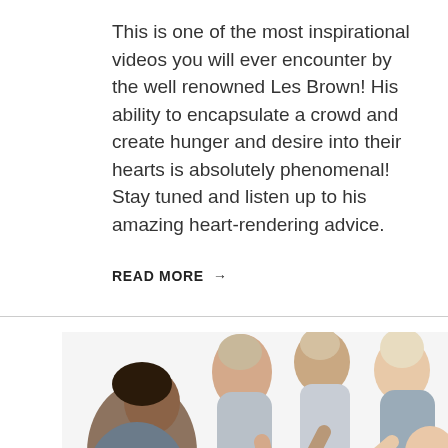This is one of the most inspirational videos you will ever encounter by the well renowned Les Brown! His ability to encapsulate a crowd and create hunger and desire into their hearts is absolutely phenomenal! Stay tuned and listen up to his amazing heart-rendering advice.
READ MORE →
[Figure (photo): Group of diverse people leaning in together with hands stacked in the center, smiling, viewed from above at an angle.]